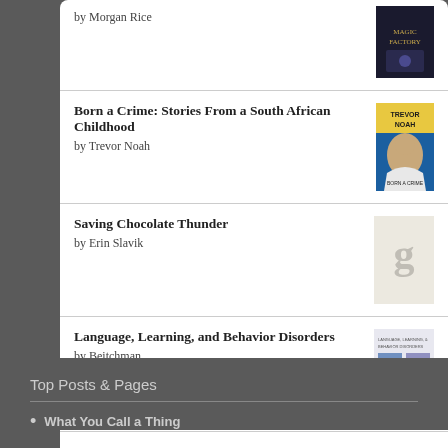by Morgan Rice
Born a Crime: Stories From a South African Childhood
by Trevor Noah
Saving Chocolate Thunder
by Erin Slavik
Language, Learning, and Behavior Disorders
by Beitchman
[Figure (logo): goodreads logo button with rounded rectangle border]
Top Posts & Pages
What You Call a Thing